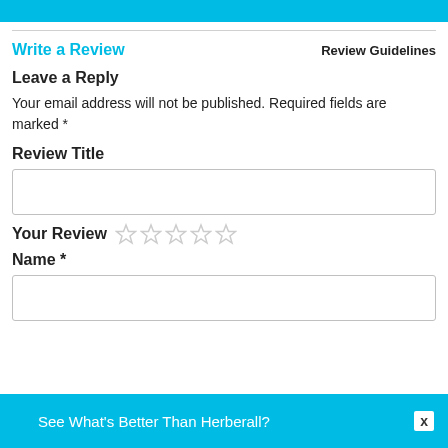Write a Review
Review Guidelines
Leave a Reply
Your email address will not be published. Required fields are marked *
Review Title
[Figure (other): Empty text input box for Review Title]
Your Review
[Figure (other): Five empty star rating icons]
Name *
[Figure (other): Empty text input box for Name]
See What's Better Than Herberall?